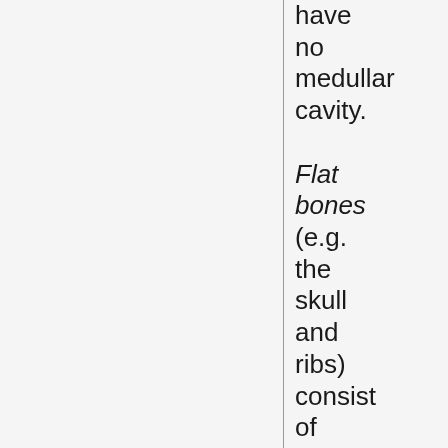have no medullar cavity. Flat bones (e.g. the skull and ribs) consist of two layers of